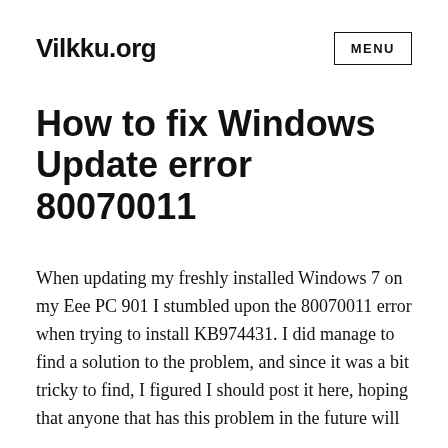Vilkku.org
How to fix Windows Update error 80070011
When updating my freshly installed Windows 7 on my Eee PC 901 I stumbled upon the 80070011 error when trying to install KB974431. I did manage to find a solution to the problem, and since it was a bit tricky to find, I figured I should post it here, hoping that anyone that has this problem in the future will